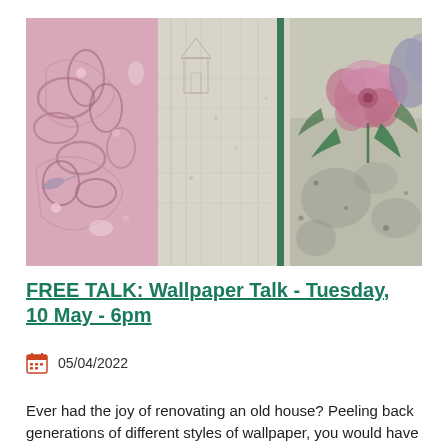[Figure (photo): Composite image of three different vintage wallpaper samples side by side: left panel shows pink baroque floral pattern, center panel shows pale beige/cream with sketched lines and a vertical green stripe, right panel shows floral rose motif with green leaves on aged background.]
FREE TALK: Wallpaper Talk - Tuesday, 10 May - 6pm
05/04/2022
Ever had the joy of renovating an old house? Peeling back generations of different styles of wallpaper, you would have ...